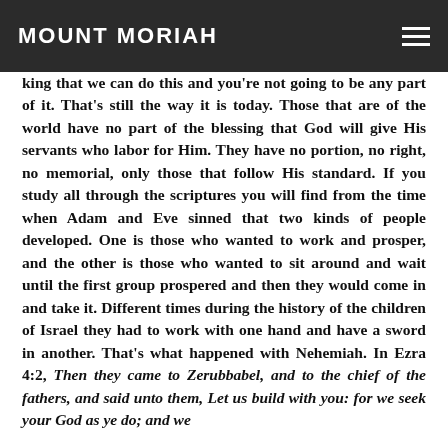MOUNT MORIAH
king that we can do this and you're not going to be any part of it. That's still the way it is today. Those that are of the world have no part of the blessing that God will give His servants who labor for Him. They have no portion, no right, no memorial, only those that follow His standard. If you study all through the scriptures you will find from the time when Adam and Eve sinned that two kinds of people developed. One is those who wanted to work and prosper, and the other is those who wanted to sit around and wait until the first group prospered and then they would come in and take it. Different times during the history of the children of Israel they had to work with one hand and have a sword in another. That's what happened with Nehemiah. In Ezra 4:2, Then they came to Zerubbabel, and to the chief of the fathers, and said unto them, Let us build with you: for we seek your God as ye do; and we